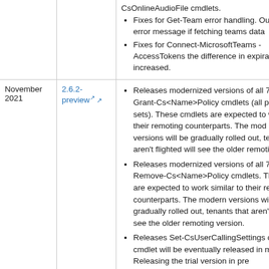| Date | Version | Release notes |
| --- | --- | --- |
|  |  | CsOnlineAudioFile cmdlets.
• Fixes for Get-Team error handling. Out the error message if fetching teams data
• Fixes for Connect-MicrosoftTeams - AccessTokens the difference in expiration increased. |
| November 2021 | 2.6.2-preview | • Releases modernized versions of all 7 Grant-Cs<Name>Policy cmdlets (all para sets). These cmdlets are expected to wor to their remoting counterparts. The mod versions will be gradually rolled out, tena aren't flighted will see the older remoting
• Releases modernized versions of all 7 Remove-Cs<Name>Policy cmdlets. Thes are expected to work similar to their rem counterparts. The modern versions will b gradually rolled out, tenants that aren't f will see the older remoting version.
• Releases Set-CsUserCallingSettings cr This cmdlet will be eventually released in module. Releasing the trial version in pre |